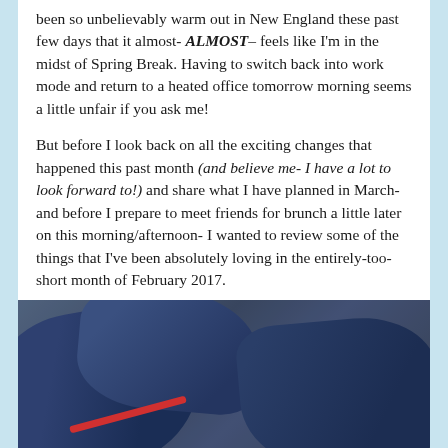been so unbelievably warm out in New England these past few days that it almost- ALMOST– feels like I'm in the midst of Spring Break. Having to switch back into work mode and return to a heated office tomorrow morning seems a little unfair if you ask me!
But before I look back on all the exciting changes that happened this past month (and believe me- I have a lot to look forward to!) and share what I have planned in March- and before I prepare to meet friends for brunch a little later on this morning/afternoon- I wanted to review some of the things that I've been absolutely loving in the entirely-too-short month of February 2017.
This is my monthly “Hits List”! Enjoy!
[Figure (photo): Close-up photo of a navy blue athletic shirt or jacket with a red stripe, laid on a light surface.]